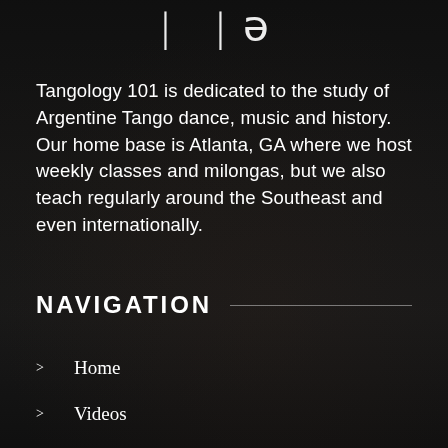[Figure (logo): Partial logo showing two stylized characters resembling vertical bars or letters, rendered in white on dark background]
Tangology 101 is dedicated to the study of Argentine Tango dance, music and history. Our home base is Atlanta, GA where we host weekly classes and milongas, but we also teach regularly around the Southeast and even internationally.
NAVIGATION
> Home
> Videos